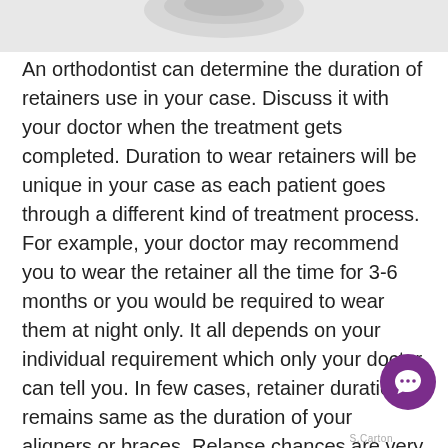[Figure (photo): Partial image of a dental retainer or orthodontic device, cropped at top of page]
An orthodontist can determine the duration of retainers use in your case. Discuss it with your doctor when the treatment gets completed. Duration to wear retainers will be unique in your case as each patient goes through a different kind of treatment process. For example, your doctor may recommend you to wear the retainer all the time for 3-6 months or you would be required to wear them at night only. It all depends on your individual requirement which only your doctor can tell you. In few cases, retainer duration remains same as the duration of your aligners or braces. Relapse chances are very high during the first few months.  On the other hand, you would be recommended to your retainers for full time in the initial days and then to wear them in the night only.